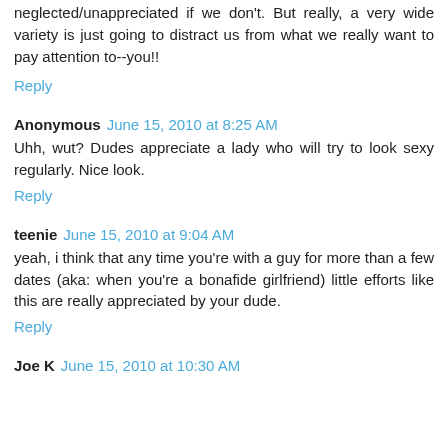neglected/unappreciated if we don't. But really, a very wide variety is just going to distract us from what we really want to pay attention to--you!!
Reply
Anonymous June 15, 2010 at 8:25 AM
Uhh, wut? Dudes appreciate a lady who will try to look sexy regularly. Nice look.
Reply
teenie June 15, 2010 at 9:04 AM
yeah, i think that any time you're with a guy for more than a few dates (aka: when you're a bonafide girlfriend) little efforts like this are really appreciated by your dude.
Reply
Joe K June 15, 2010 at 10:30 AM